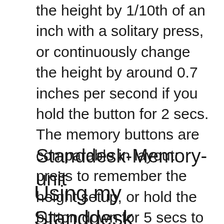the height by 1/10th of an inch with a solitary press, or continuously change the height by around 0.7 inches per second if you hold the button for 2 secs. The memory buttons are comparable in layout: press to remember the height setup, or hold the button down for 5 secs to keep a brand-new elevation worth. I'm making use of switch 1 for my resting placement and also switch 4 for my standing placement, which offers me 2 and 3 for anything I might require in the future.
Standdesk-Memory-unit
Using my Standdesk
the next all...